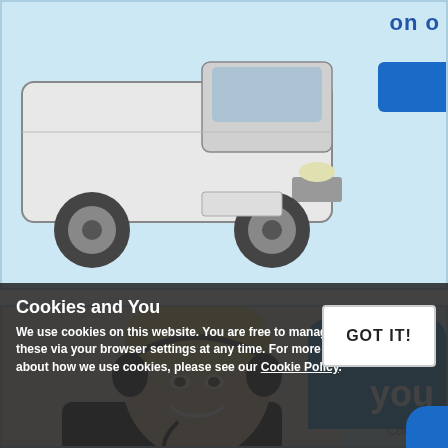[Figure (photo): Top banner showing a white commercial van on a light blue background, with partial text 'on o...' in top right and a blue button on the right side]
[Figure (photo): Bottom banner showing a smiling blonde female customer service agent wearing a headset, with a blue speech bubble on the right showing partial text 'Nee... you...' and partial 'Contact' text]
Cookies and You
We use cookies on this website. You are free to manage these via your browser settings at any time. For more about how we use cookies, please see our Cookie Policy.
GOT IT!